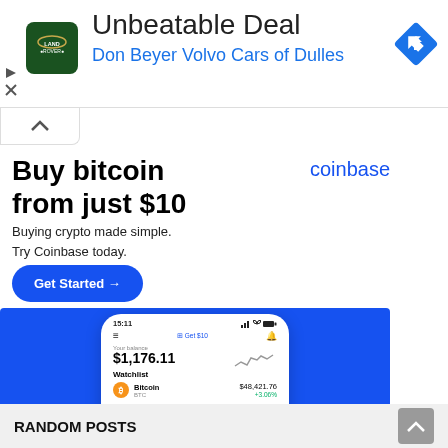[Figure (screenshot): Land Rover dealership advertisement banner: 'Unbeatable Deal' and 'Don Beyer Volvo Cars of Dulles' with Land Rover logo and blue navigation icon]
Buy bitcoin from just $10
Buying crypto made simple. Try Coinbase today.
coinbase
[Figure (screenshot): Coinbase mobile app screenshot on blue background showing balance of $1,176.11, Watchlist with Bitcoin (BTC) at $48,421.76 +3.06%]
RANDOM POSTS